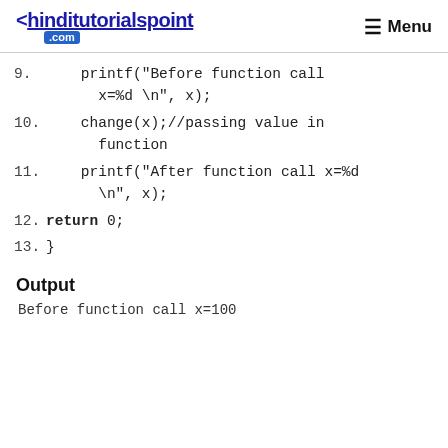<hinditutorialspoint .com   ☰ Menu
9.    printf("Before function call x=%d \n", x);
10.   change(x);//passing value in function
11.   printf("After function call x=%d \n", x);
12. return 0;
13. }
Output
Before function call x=100